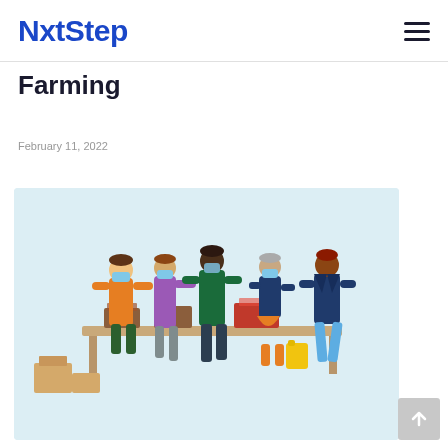NxtStep
Farming
February 11, 2022
[Figure (illustration): Illustration of people at an outdoor market or farm stand, wearing masks, exchanging produce and goods across a table. Cardboard boxes are on the ground to the left. People include a vendor in orange, a customer in purple, a person in dark green, a person in navy with an orange skirt holding a yellow bag, and a person in a navy blazer with teal pants.]